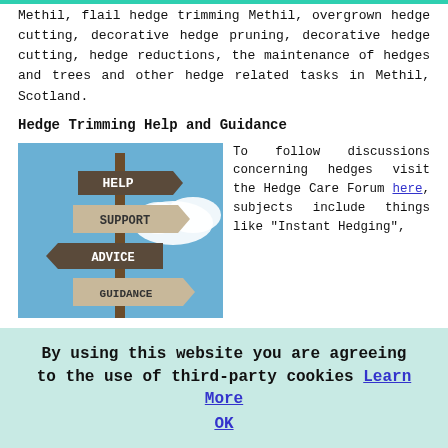Methil, flail hedge trimming Methil, overgrown hedge cutting, decorative hedge pruning, decorative hedge cutting, hedge reductions, the maintenance of hedges and trees and other hedge related tasks in Methil, Scotland.
Hedge Trimming Help and Guidance
[Figure (photo): A wooden signpost with multiple arrow signs reading HELP, SUPPORT, ADVICE, GUIDANCE against a blue sky with clouds.]
To follow discussions concerning hedges visit the Hedge Care Forum here, subjects include things like "Instant Hedging", "Privet Hedge Planting", "Hedge Cutting Estimates", "Hedge Die Backs", "Long Reach Hedge Care Tools" and "Hedge Trimmer Reviews". Discover the essentials on cutting a leylandii hedge by watching You Tube here. To check out an
By using this website you are agreeing to the use of third-party cookies Learn More  OK